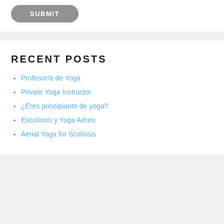SUBMIT
RECENT POSTS
Profesor/a de Yoga
Private Yoga Instructor
¿Eres principiante de yoga?
Escoliosis y Yoga Aéreo
Aerial Yoga for Scoliosis